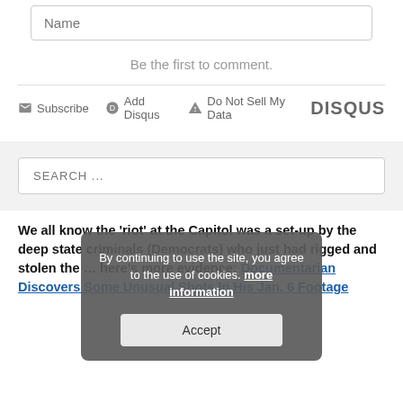Name
Be the first to comment.
Subscribe  Add Disqus  Do Not Sell My Data  DISQUS
SEARCH ...
We all know the 'riot' at the Capitol was a set-up by the deep state criminals (Democrats) who just had rigged and stolen the … here's more evidence: Documentarian Discovers Some Unusual Shots In His Jan. 6 Footage
[Figure (screenshot): Cookie consent overlay with gray background saying 'By continuing to use the site, you agree to the use of cookies. more information' and an Accept button]